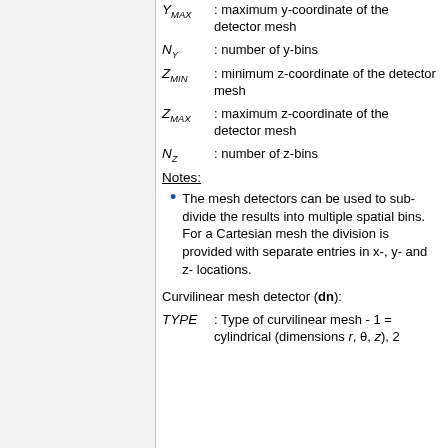Y_MAX : maximum y-coordinate of the detector mesh
N_Y : number of y-bins
Z_MIN : minimum z-coordinate of the detector mesh
Z_MAX : maximum z-coordinate of the detector mesh
N_Z : number of z-bins
Notes:
The mesh detectors can be used to sub-divide the results into multiple spatial bins. For a Cartesian mesh the division is provided with separate entries in x-, y- and z- locations.
Curvilinear mesh detector (dn):
TYPE : Type of curvilinear mesh - 1 = cylindrical (dimensions r, θ, z), 2